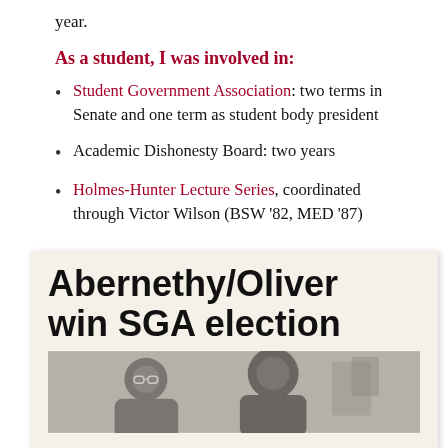year.
As a student, I was involved in:
Student Government Association: two terms in Senate and one term as student body president
Academic Dishonesty Board: two years
Holmes-Hunter Lecture Series, coordinated through Victor Wilson (BSW '82, MED '87)
[Figure (photo): Newspaper clipping with headline 'Abernethy/Oliver win SGA election' and a black-and-white photograph of two people below the headline.]